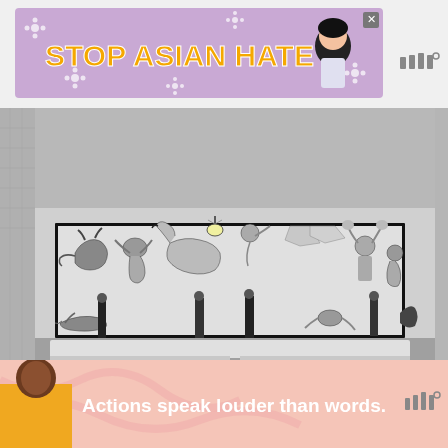[Figure (screenshot): Top advertisement banner with purple background reading STOP ASIAN HATE in bold yellow text with floral decorations and an anime-style character]
[Figure (photo): Black and white photograph of Picasso's Guernica painting displayed in a gallery, with several people standing in front of the large canvas]
[Figure (screenshot): Bottom advertisement banner with pink background showing a person and text reading Actions speak louder than words.]